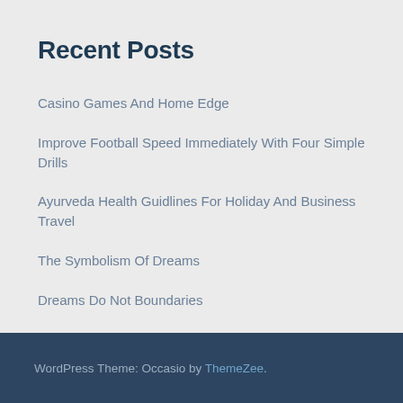Recent Posts
Casino Games And Home Edge
Improve Football Speed Immediately With Four Simple Drills
Ayurveda Health Guidlines For Holiday And Business Travel
The Symbolism Of Dreams
Dreams Do Not Boundaries
WordPress Theme: Occasio by ThemeZee.